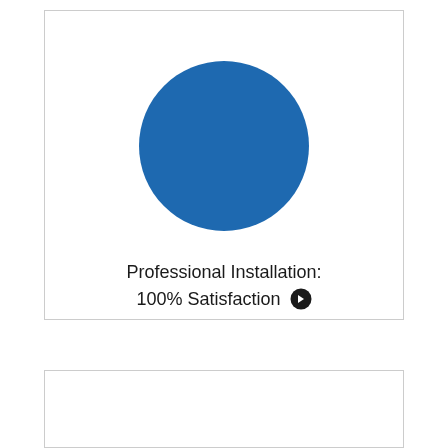[Figure (illustration): A solid blue circle centered in a white card]
Professional Installation: 100% Satisfaction →
[Figure (illustration): Partial white card at the bottom of the page, content not visible]